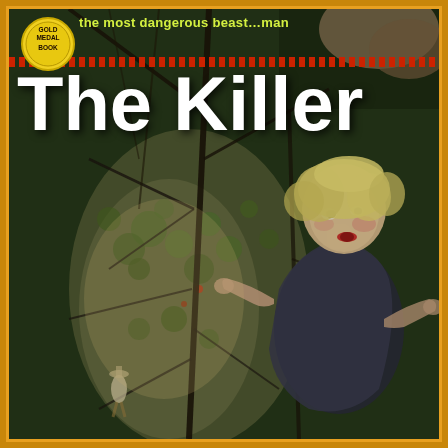[Figure (illustration): Vintage pulp fiction book cover painting showing a frightened blonde woman in a dark outfit fleeing through dense forest undergrowth with bare tree branches, looking back over her shoulder with an expression of terror. In the background, a distant figure of a man in a hat can be seen among the trees. Dark, moody jungle/swamp atmosphere with patches of light breaking through the foliage.]
the most dangerous beast...man
The Killer
GOLD MEDAL BOOK